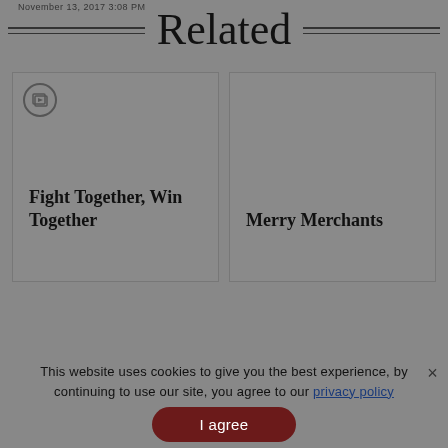November 13, 2017 3:08 PM
Related
[Figure (screenshot): Card with slideshow icon for article 'Fight Together, Win Together']
Fight Together, Win Together
[Figure (screenshot): Card for article 'Merry Merchants']
Merry Merchants
This website uses cookies to give you the best experience, by continuing to use our site, you agree to our privacy policy
I agree